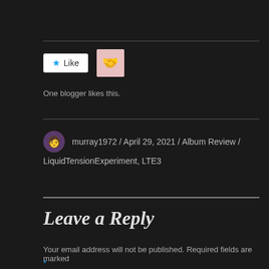[Figure (other): Like button (white button with blue star icon and text 'Like') and a small avatar thumbnail showing a heart/hands image]
One blogger likes this.
murray1972 / April 29, 2021 / Album Review / LiquidTensionExperiment, LTE3
Leave a Reply
Your email address will not be published. Required fields are marked *